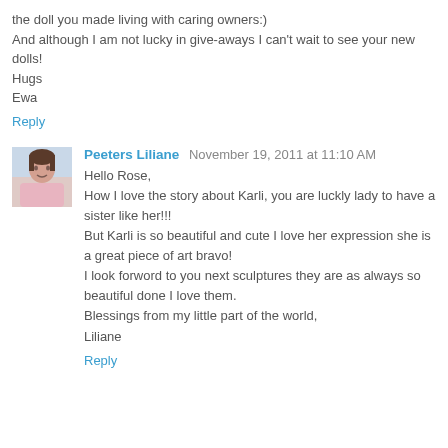the doll you made living with caring owners:)
And although I am not lucky in give-aways I can't wait to see your new dolls!
Hugs
Ewa
Reply
[Figure (photo): Small avatar photo of Peeters Liliane, a person in pink clothing]
Peeters Liliane  November 19, 2011 at 11:10 AM
Hello Rose,
How I love the story about Karli, you are luckly lady to have a sister like her!!!
But Karli is so beautiful and cute I love her expression she is a great piece of art bravo!
I look forword to you next sculptures they are as always so beautiful done I love them.
Blessings from my little part of the world,
Liliane
Reply